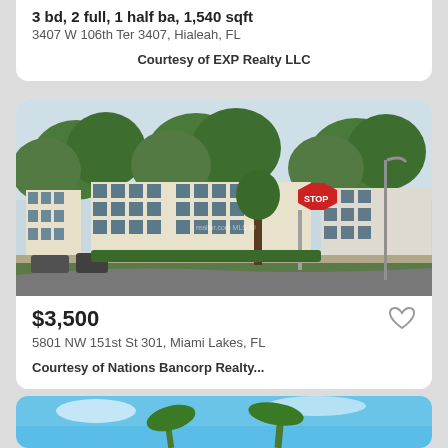3 bd, 2 full, 1 half ba, 1,540 sqft
3407 W 106th Ter 3407, Hialeah, FL
Courtesy of EXP Realty LLC
[Figure (photo): Street-level photo of multi-story townhomes/condos with trees and a stop sign in Miami Lakes, FL]
$3,500
5801 NW 151st St 301, Miami Lakes, FL
Courtesy of Nations Bancorp Realty...
[Figure (photo): Partial view of a property with blue sky and green trees, third listing card cut off at bottom]